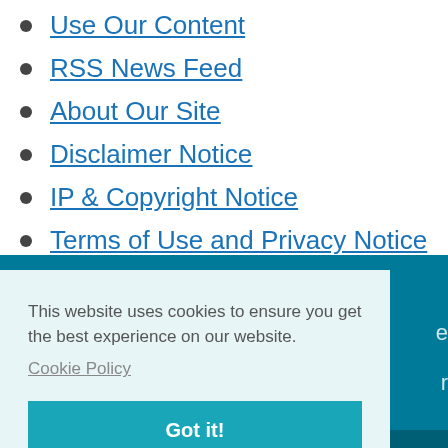Use Our Content
RSS News Feed
About Our Site
Disclaimer Notice
IP & Copyright Notice
Terms of Use and Privacy Notice
This website uses cookies to ensure you get the best experience on our website. Cookie Policy
Got it!